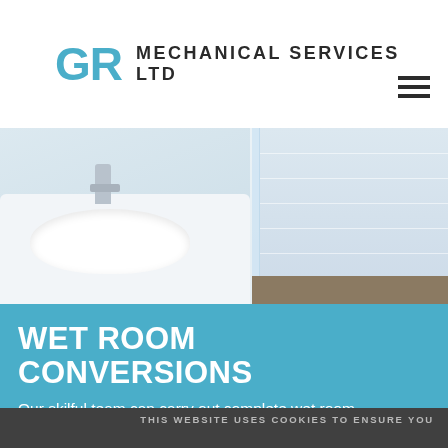[Figure (logo): GR Mechanical Services Ltd logo with blue GR letters and dark text]
[Figure (photo): Bathroom photo showing white sink with faucet on left and shower enclosure with glass panel and tiled walls on right]
WET ROOM CONVERSIONS
Our skilful team can carry out complete wet room
THIS WEBSITE USES COOKIES TO ENSURE YOU GET THE BEST EXPERIENCE ON OUR WEBSITE:
FIND OUT MORE.